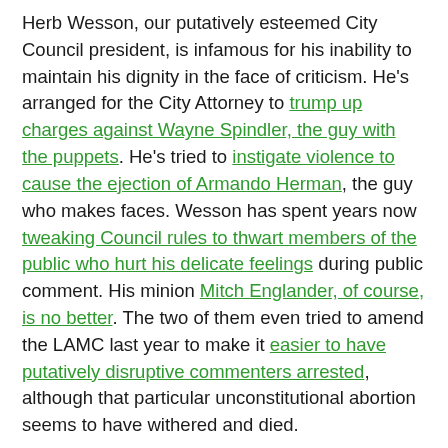Herb Wesson, our putatively esteemed City Council president, is infamous for his inability to maintain his dignity in the face of criticism. He's arranged for the City Attorney to trump up charges against Wayne Spindler, the guy with the puppets. He's tried to instigate violence to cause the ejection of Armando Herman, the guy who makes faces. Wesson has spent years now tweaking Council rules to thwart members of the public who hurt his delicate feelings during public comment. His minion Mitch Englander, of course, is no better. The two of them even tried to amend the LAMC last year to make it easier to have putatively disruptive commenters arrested, although that particular unconstitutional abortion seems to have withered and died.
So it was shocking but not surprising to find this steaming little heap of a motion in today's transmission from the City Clerk, wherein Wesson, seconded by Englander and a bunch of other folks who failed civics class, seeks to amend Council rules to allow ever-lengthening penalties for people who have been